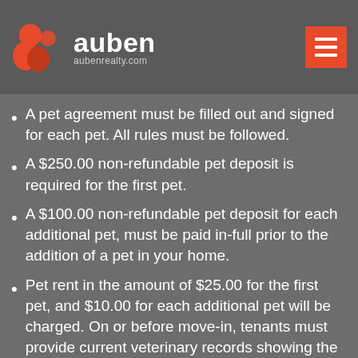We allow a maximum of three (3) pets per home, providing the following criteria are met:
[Figure (logo): Auben Realty logo with orange icon and white text, aubenrealty.com]
A pet agreement must be filled out and signed for each pet. All rules must be followed.
A $250.00 non-refundable pet deposit is required for the first pet.
A $100.00 non-refundable pet deposit for each additional pet, must be paid in-full prior to the addition of a pet in your home.
Pet rent in the amount of $25.00 for the first pet, and $10.00 for each additional pet will be charged. On or before move-in, tenants must provide current veterinary records showing the breed(s), age, weight, license number & rabies shot date. An interview or picture may be requested.